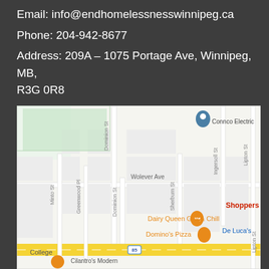Email: info@endhomelessnesswinnipeg.ca
Phone: 204-942-8677
Address: 209A – 1075 Portage Ave, Winnipeg, MB, R3G 0R8
[Figure (map): Google Maps screenshot showing the area around 1075 Portage Ave, Winnipeg, MB. Visible streets include Dominion St, Minto St, Greenwood Pl, Wolever Ave, Sherburn St, Ingersoll St, Lipton St. Nearby landmarks include Connco Electric, Shoppers, Dairy Queen Grill & Chill, Domino's Pizza, De Luca's, College, and Cilantro's Modern.]